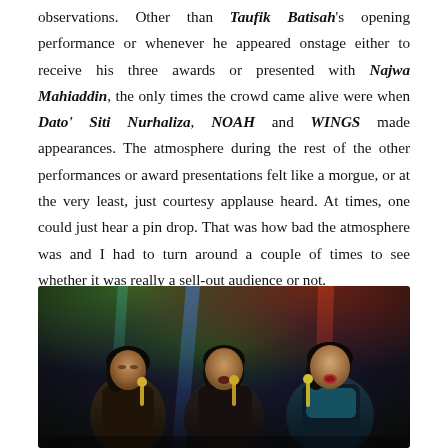observations. Other than Taufik Batisah's opening performance or whenever he appeared onstage either to receive his three awards or presented with Najwa Mahiaddin, the only times the crowd came alive were when Dato' Siti Nurhaliza, NOAH and WINGS made appearances. The atmosphere during the rest of the other performances or award presentations felt like a morgue, or at the very least, just courtesy applause heard. At times, one could just hear a pin drop. That was how bad the atmosphere was and I had to turn around a couple of times to see whether it was really a sell-out audience or not.
[Figure (photo): Three women performing on stage with microphones, colorful stage lighting behind them including blue, teal, and red beams against a dark background.]